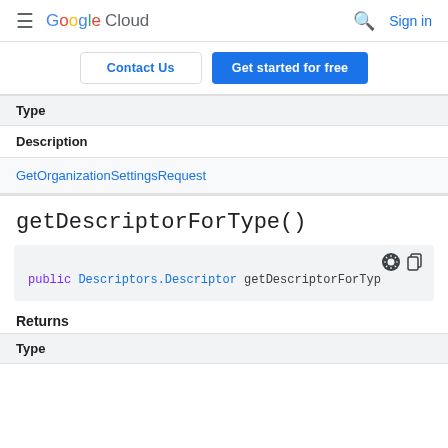Google Cloud  Sign in
Contact Us  Get started for free
| Type |
| --- |
| Description |
| --- |
| GetOrganizationSettingsRequest |
getDescriptorForType()
public Descriptors.Descriptor getDescriptorForType
Returns
| Type |
| --- |